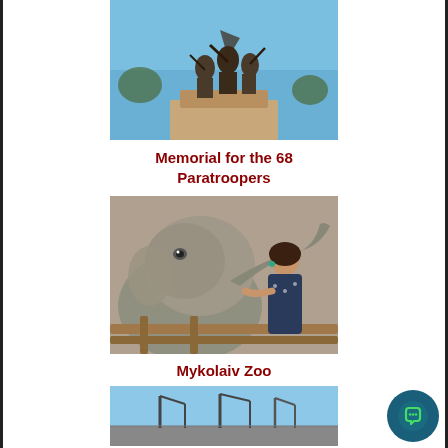[Figure (photo): Bronze war memorial sculpture of soldiers against a blue sky — Memorial for the 68 Paratroopers]
Memorial for the 68 Paratroopers
[Figure (photo): Close-up of a young woman feeding an elephant at Mykolaiv Zoo — the elephant's trunk curls toward her hand]
Mykolaiv Zoo
[Figure (photo): Port or industrial scene with cranes against a blue sky]